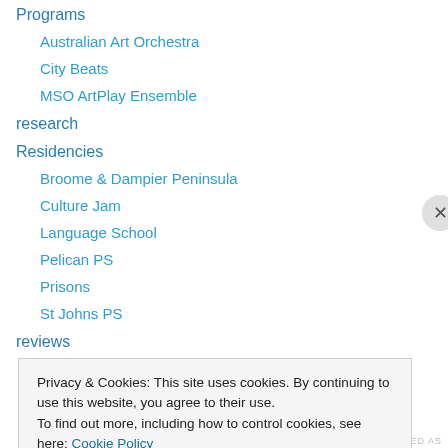Programs
Australian Art Orchestra
City Beats
MSO ArtPlay Ensemble
research
Residencies
Broome & Dampier Peninsula
Culture Jam
Language School
Pelican PS
Prisons
St Johns PS
reviews
Privacy & Cookies: This site uses cookies. By continuing to use this website, you agree to their use.
To find out more, including how to control cookies, see here: Cookie Policy
Close and accept